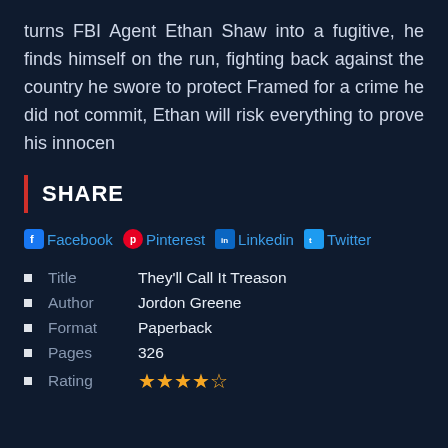turns FBI Agent Ethan Shaw into a fugitive, he finds himself on the run, fighting back against the country he swore to protect Framed for a crime he did not commit, Ethan will risk everything to prove his innocen
SHARE
Facebook Pinterest Linkedin Twitter
Title: They'll Call It Treason
Author: Jordon Greene
Format: Paperback
Pages: 326
Rating: 4.5 stars